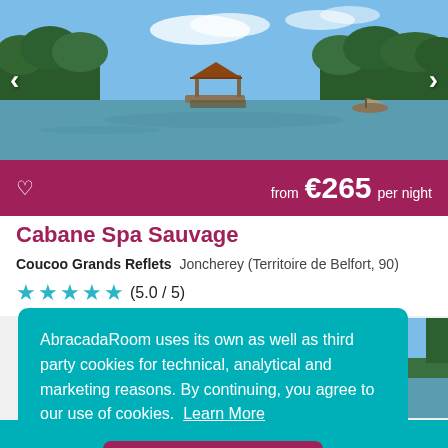[Figure (photo): Scenic lake with a small gazebo/pavilion on the water, surrounded by green trees and blue sky]
from €265 per night
Cabane Spa Sauvage
Coucoo Grands Reflets  Joncherey (Territoire de Belfort, 90)
★★★★☆ (5.0 / 5)
AbracadaRoom uses its own as well as third party cookies for technical, analytical and marketing reasons. By continuing, you agree to our use of cookies.  Learn More
Close